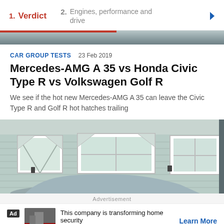1. Verdict  2. Engines, performance and drive
CAR GROUP TESTS  23 Feb 2019
Mercedes-AMG A 35 vs Honda Civic Type R vs Volkswagen Golf R
We see if the hot new Mercedes-AMG A 35 can leave the Civic Type R and Golf R hot hatches trailing
[Figure (photo): Photo of a car parked in front of a light green/grey clapboard building with white-framed windows]
Advertisement
This company is transforming home security SimpliSafe  Learn More